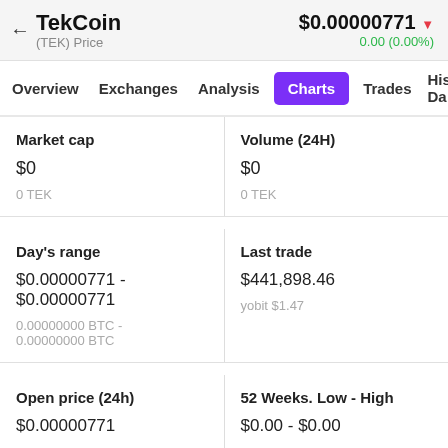TekCoin (TEK) Price — $0.00000771 ▼ 0.00 (0.00%)
Overview | Exchanges | Analysis | Charts | Trades | Historical Da
| Market cap | Volume (24H) |
| --- | --- |
| $0 | $0 |
| 0 TEK | 0 TEK |
| Day's range | Last trade |
| --- | --- |
| $0.00000771 - $0.00000771 | $441,898.46 |
| 0.00000000 BTC - 0.00000000 BTC | yobit $1.47 |
| Open price (24h) | 52 Weeks. Low - High |
| --- | --- |
| $0.00000771 | $0.00 - $0.00 |